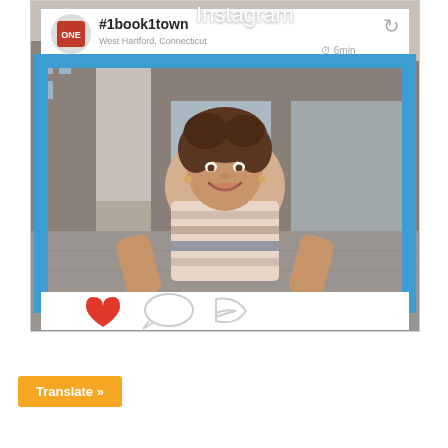[Figure (photo): A woman smiling and holding up a large Instagram-themed photo frame prop. The frame shows '#1book1town' username, 'West Hartford, Connecticut' location, and '6min' timestamp. She is standing outside a bookstore. The frame has a blue border, a heart icon, speech bubble and arrow icons at the bottom.]
Translate »